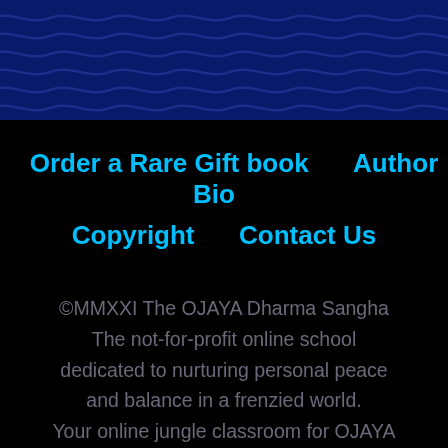[Figure (illustration): Dark navy blue wavy pattern header banner]
Order a Rare Gift book   Author Bio   Copyright   Contact Us
©MMXXI The OJAYA Dharma Sangha The not-for-profit online school dedicated to nurturing personal peace and balance in a frenzied world. Your online jungle classroom for OJAYA Deep Meditation